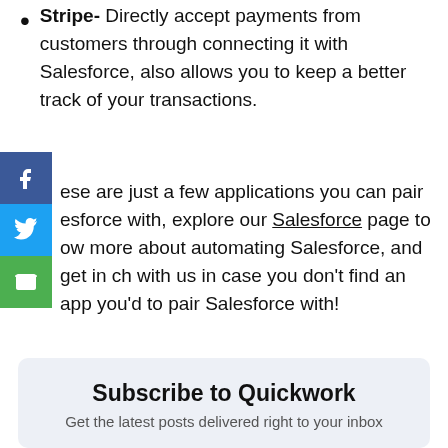Stripe- Directly accept payments from customers through connecting it with Salesforce, also allows you to keep a better track of your transactions.
ese are just a few applications you can pair esforce with, explore our Salesforce page to ow more about automating Salesforce, and get in ch with us in case you don't find an app you'd to pair Salesforce with!
Subscribe to Quickwork
Get the latest posts delivered right to your inbox